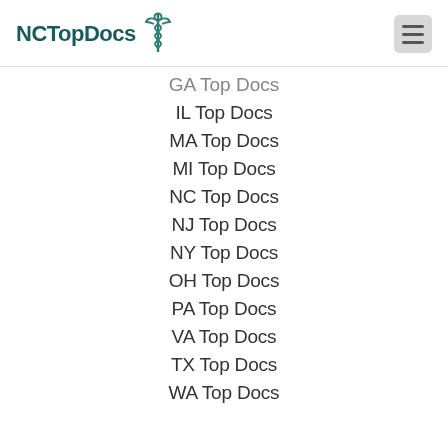NCTopDocs
GA Top Docs
IL Top Docs
MA Top Docs
MI Top Docs
NC Top Docs
NJ Top Docs
NY Top Docs
OH Top Docs
PA Top Docs
VA Top Docs
TX Top Docs
WA Top Docs